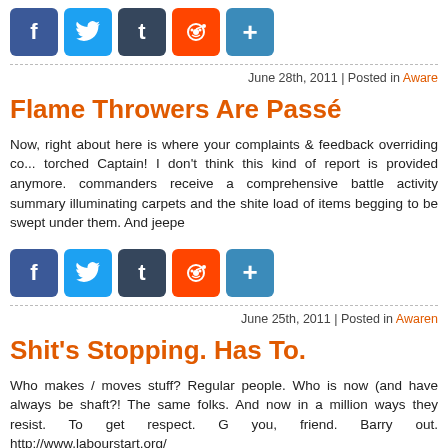[Figure (other): Social share bar with Facebook, Twitter, Tumblr, Reddit, Share icons]
June 28th, 2011 | Posted in Aware
Flame Throwers Are Passé
Now, right about here is where your complaints & feedback overriding co... torched Captain! I don't think this kind of report is provided anymore. commanders receive a comprehensive battle activity summary illuminating carpets and the shite load of items begging to be swept under them. And jeepe
[Figure (other): Social share bar with Facebook, Twitter, Tumblr, Reddit, Share icons]
June 25th, 2011 | Posted in Awaren
Shit's Stopping. Has To.
Who makes / moves stuff? Regular people. Who is now (and have always be shaft?! The same folks. And now in a million ways they resist. To get respect. G you, friend. Barry out. http://www.labourstart.org/
[Figure (other): Social share bar with Facebook, Twitter, Tumblr, Reddit, Share icons (partial)]